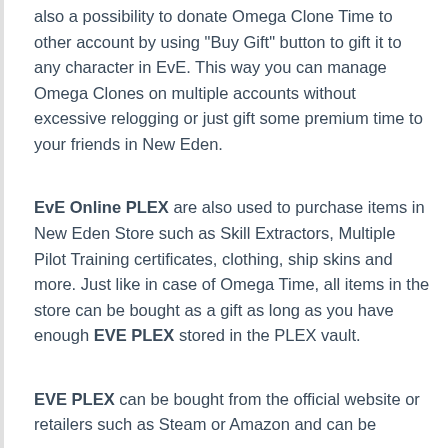also a possibility to donate Omega Clone Time to other account by using "Buy Gift" button to gift it to any character in EvE. This way you can manage Omega Clones on multiple accounts without excessive relogging or just gift some premium time to your friends in New Eden.
EvE Online PLEX are also used to purchase items in New Eden Store such as Skill Extractors, Multiple Pilot Training certificates, clothing, ship skins and more. Just like in case of Omega Time, all items in the store can be bought as a gift as long as you have enough EVE PLEX stored in the PLEX vault.
EVE PLEX can be bought from the official website or retailers such as Steam or Amazon and can be